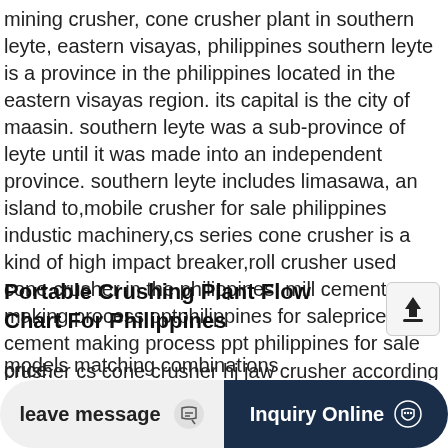mining crusher, cone crusher plant in southern leyte, eastern visayas, philippines southern leyte is a province in the philippines located in the eastern visayas region. its capital is the city of maasin. southern leyte was a sub-province of leyte until it was made into an independent province. southern leyte includes limasawa, an island to,mobile crusher for sale philippines industic machinery,cs series cone crusher is a kind of high impact breaker,roll crusher used cone crusher in the philippines, mill cement making process pptphilippines for saleprice cement making process ppt philippines for sale price.
Portable Crushing Plant Flow Chart For Philippines
crusher cs cone crusher hj jaw crusher according to the demand of production it can be
models matching combinations